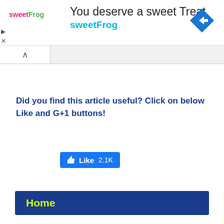[Figure (screenshot): Advertisement banner for sweetFrog with logo, text 'You deserve a sweet Treat', 'sweetFrog', and a blue diamond navigation arrow icon on the right. Play and close icons on the left.]
[Figure (screenshot): Browser tab bar showing a white active tab with an up-caret (^) symbol]
Did you find this article useful? Click on below Like and G+1 buttons!
[Figure (screenshot): Facebook Like button showing thumbs up icon, 'Like' text, and count '2.1K' in blue]
Home